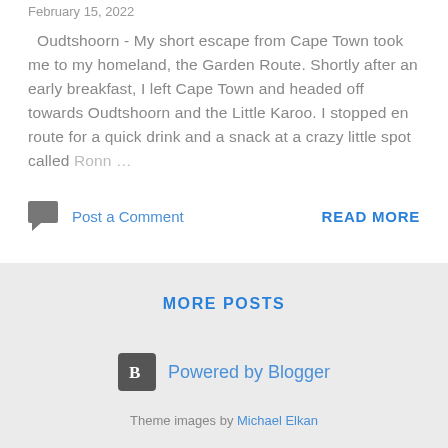February 15, 2022
Oudtshoorn - My short escape from Cape Town took me to my homeland, the Garden Route. Shortly after an early breakfast, I left Cape Town and headed off towards Oudtshoorn and the Little Karoo. I stopped en route for a quick drink and a snack at a crazy little spot called Ronn…
Post a Comment
READ MORE
MORE POSTS
Powered by Blogger
Theme images by Michael Elkan